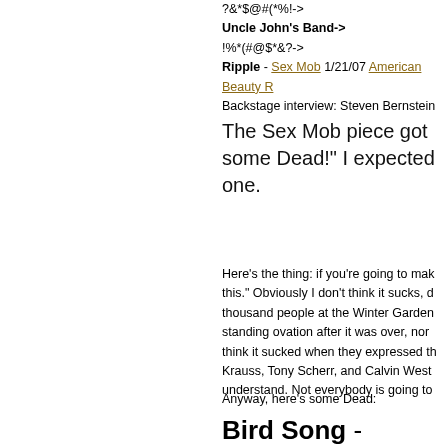?&*$@#(*%!->
Uncle John's Band->
!%*(#@$*&?->
Ripple - Sex Mob 1/21/07 American Beauty R
Backstage interview: Steven Bernstein
The Sex Mob piece got some Dead!" I expected one.
Here's the thing: if you're going to mak this." Obviously I don't think it sucks, d thousand people at the Winter Garden standing ovation after it was over, nor think it sucked when they expressed th Krauss, Tony Scherr, and Calvin West understand. Not everybody is going to
Anyway, here's some Dead:
Bird Song - Grateful Dead 3/
China Cat Sunflower->
I Know You Rider